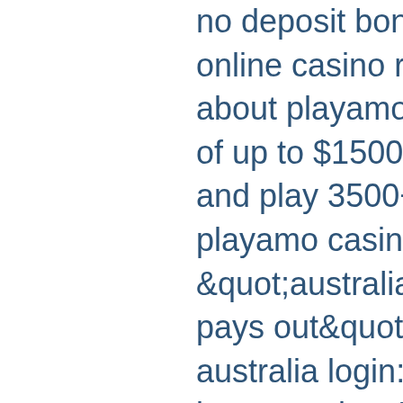no deposit bonus codes 2021. Playamo online casino review 2022 - learn all about playamo casino and get a bonus of up to $1500 + 150 free spins! sign up and play 3500+ games! Find the latest playamo casino bonus codes. &quot;australian casino that actually pays out&quot;. Playamo casino australia login: free spins, no deposit bonus codes. Play online pokies at playamo casino - australia's popular online casino site. Playamo casino australia – login, play and win. Playamo casino australia login playamo casino is a fresh-faced addition to the australian gambling scene. You'll also find a great collection of indian-themed slots available. The playamo casino operator puts forth a formidable game lobby, 3000. Playamo mobile casino australia awards loyal players with one-of-a-kind promotions and match offers. Casino login bonus 30 days